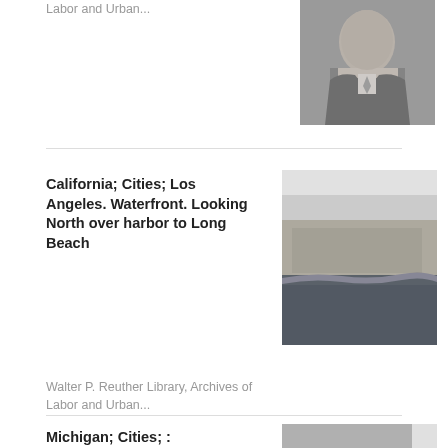Labor and Urban...
[Figure (photo): Black and white portrait photo of a man in a suit]
California; Cities; Los Angeles. Waterfront. Looking North over harbor to Long Beach
Walter P. Reuther Library, Archives of Labor and Urban...
[Figure (photo): Black and white aerial photograph looking north over Los Angeles harbor to Long Beach]
Michigan; Cities; :